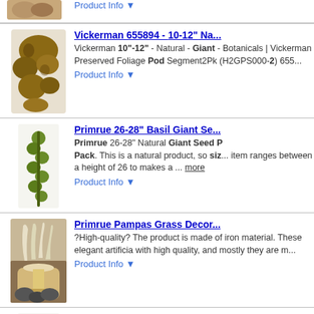[Figure (photo): Partial product image at top of page (clipped)]
Product Info ▼
[Figure (photo): Vickerman preserved botanical pod segment product image]
Vickerman 655894 - 10-12" Na...
Vickerman 10"-12" - Natural - Giant - Botanicals | Vickerman Preserved Foliage Pod Segment2Pk (H2GPS000-2) 655...
Product Info ▼
[Figure (photo): Primrue 26-28" Basil Giant Seed Pack product image (green)]
Primrue 26-28" Basil Giant Se...
Primrue 26-28" Natural Giant Seed Pack. This is a natural product, so size item ranges between a height of 26 to makes a ... more
Product Info ▼
[Figure (photo): Primrue Pampas Grass Decorative arrangement with lamp]
Primrue Pampas Grass Decor...
?High-quality? The product is made of iron material. These elegant artificia with high quality, and mostly they are m...
Product Info ▼
[Figure (photo): Primrue 26-28" Basil Giant Seed Pack product image (tan/brown)]
Primrue 26-28" Basil Giant S...
Primrue 26-28" Natural Giant Seed Pack. This is a natural product, so size item ranges between a height of 26 to makes a ... more
Product Info ▼